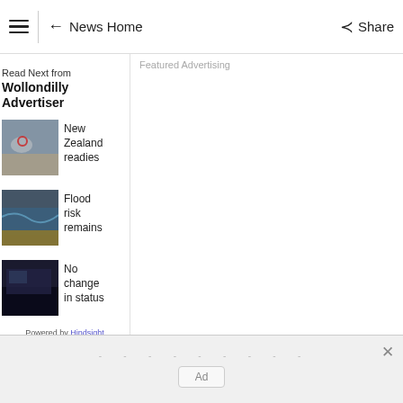☰ | ← News Home  Share
Read Next from Wollondilly Advertiser
New Zealand readies
Flood risk remains
No change in status
Powered by Hindsight
Featured Advertising
Ad